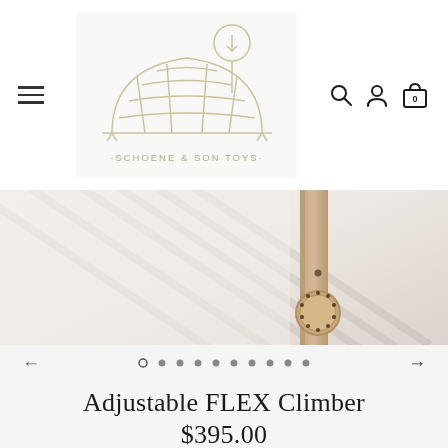[Figure (logo): Schoene & Son Toys logo: line-art of a dome/arch climbing structure with a tree, text reads ·SCHOENE & SON TOYS·]
[Figure (photo): Close-up product photo of a wooden climbing structure (Adjustable FLEX Climber) with beige/tan wood tones against a white background, partial view showing ladder rungs and a connector disc.]
Adjustable FLEX Climber
$395.00